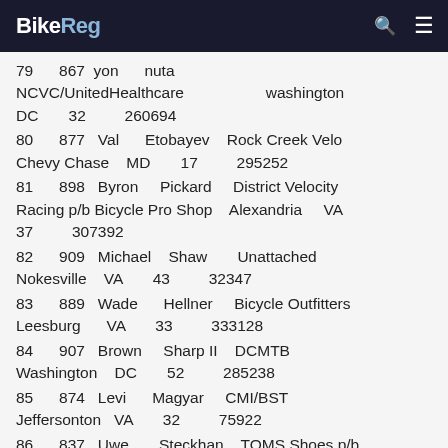BikeReg
79   867  yon   nuta   NCVC/UnitedHealthcare   washington DC   32   260694
80   877  Val   Etobayev   Rock Creek Velo   Chevy Chase   MD   17   295252
81   898  Byron   Pickard   District Velocity Racing p/b Bicycle Pro Shop   Alexandria   VA   37   307392
82   909  Michael   Shaw   Unattached   Nokesville   VA   43   32347
83   889  Wade   Hellner   Bicycle Outfitters   Leesburg   VA   33   333128
84   907  Brown   Sharp II   DCMTB   Washington   DC   52   285238
85   874  Levi   Magyar   CMI/BST   Jeffersonton   VA   32   75922
86   837  Uwe   Steckhan   TOMS Shoes p/b